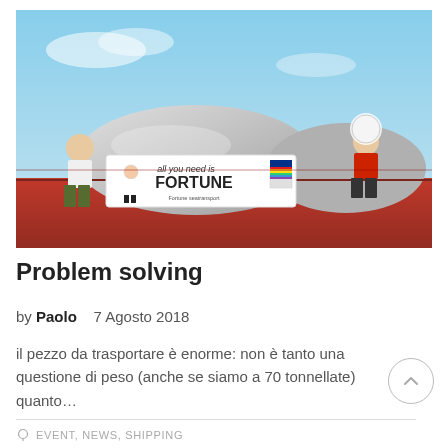[Figure (photo): Two workers standing on a large red cargo vessel/barge. A banner reads 'all you need is FORTUNE' with a logo. Gray dome-shaped cargo visible behind them. Clear blue sky background.]
Problem solving
by Paolo    7 Agosto 2018
il pezzo da trasportare è enorme: non è tanto una questione di peso (anche se siamo a 70 tonnellate) quanto...
EVENT, NEWS, SHIPPING